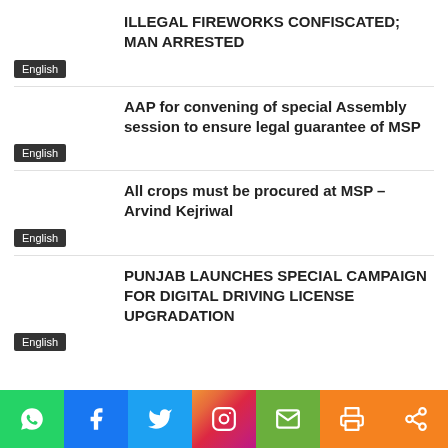ILLEGAL FIREWORKS CONFISCATED; MAN ARRESTED
English
AAP for convening of special Assembly session to ensure legal guarantee of MSP
English
All crops must be procured at MSP – Arvind Kejriwal
English
PUNJAB LAUNCHES SPECIAL CAMPAIGN FOR DIGITAL DRIVING LICENSE UPGRADATION
English
[Figure (infographic): Social media share bar with icons: WhatsApp (green), Facebook (blue), Twitter (light blue), Instagram (pink/purple), Email (gray-green), Print (orange), Share (orange)]